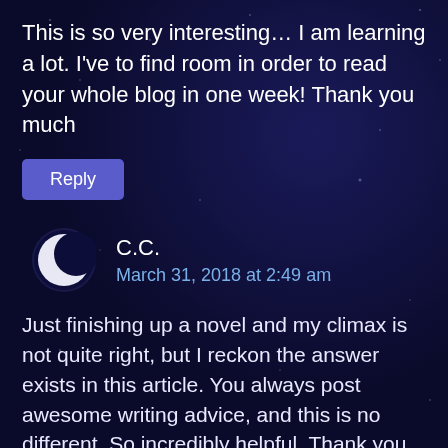This is so very interesting… I am learning a lot. I've to find room in order to read your whole blog in one week! Thank you much
Reply
C.C.
March 31, 2018 at 2:49 am
Just finishing up a novel and my climax is not quite right, but I reckon the answer exists in this article. You always post awesome writing advice, and this is no different. So incredibly helpful. Thank you.
Reply